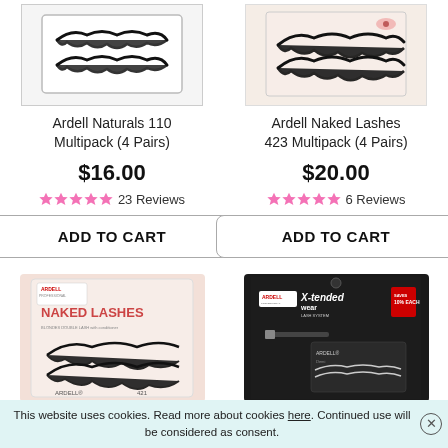[Figure (photo): Ardell Naturals 110 Multipack product - lashes in packaging]
Ardell Naturals 110 Multipack (4 Pairs)
$16.00
23 Reviews
ADD TO CART
[Figure (photo): Ardell Naked Lashes 423 Multipack product packaging]
Ardell Naked Lashes 423 Multipack (4 Pairs)
$20.00
6 Reviews
ADD TO CART
[Figure (photo): Ardell Naked Lashes product packaging - pink/cream]
[Figure (photo): Ardell X-tendedwear Lash System product packaging - dark]
This website uses cookies. Read more about cookies here. Continued use will be considered as consent.